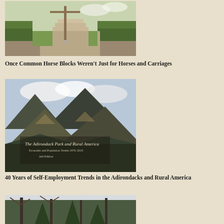[Figure (photo): Outdoor garden scene with a wooden signpost, hedges, steps, and a graveled path]
Once Common Horse Blocks Weren't Just for Horses and Carriages
[Figure (photo): Mountain landscape photograph used as book cover for 'The Adirondack Park and Rural America: Economic and Population Trends 1970-2010, 2nd Edition']
40 Years of Self-Employment Trends in the Adirondacks and Rural America
[Figure (photo): Winter trees scene with bare and evergreen trees against a light sky]